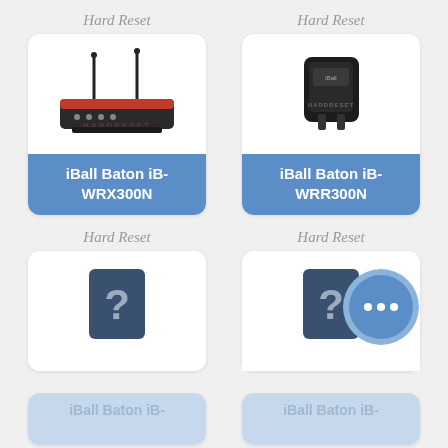Hard Reset
[Figure (photo): iBall Baton iB-WRX300N wireless router with two antennas]
iBall Baton iB-WRX300N
Hard Reset
[Figure (photo): iBall Baton iB-WRR300N compact plug-in device]
iBall Baton iB-WRR300N
Hard Reset
[Figure (photo): Unknown device with question mark icon]
Hard Reset
[Figure (photo): Unknown device with question mark icon, with more options button overlay]
iBall Baton iB-
iBall Baton iB-